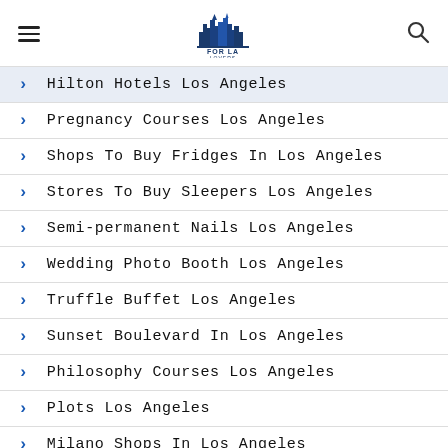For LA Lovers
Hilton Hotels Los Angeles
Pregnancy Courses Los Angeles
Shops To Buy Fridges In Los Angeles
Stores To Buy Sleepers Los Angeles
Semi-permanent Nails Los Angeles
Wedding Photo Booth Los Angeles
Truffle Buffet Los Angeles
Sunset Boulevard In Los Angeles
Philosophy Courses Los Angeles
Plots Los Angeles
Milano Shops In Los Angeles